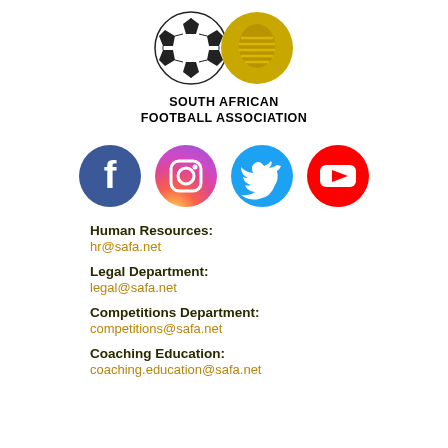[Figure (logo): South African Football Association logo with black and white soccer ball on left and gold emblem on right]
SOUTH AFRICAN
FOOTBALL ASSOCIATION
[Figure (infographic): Social media icons row: Facebook (blue circle with f), Instagram (gradient circle with camera), Twitter (blue circle with bird), YouTube (red circle with play button)]
Human Resources:
hr@safa.net
Legal Department:
legal@safa.net
Competitions Department:
competitions@safa.net
Coaching Education:
coaching.education@safa.net